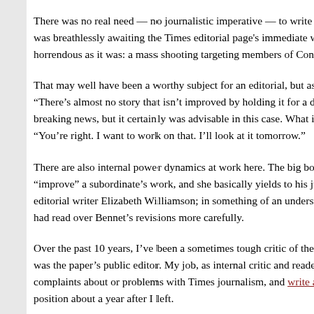There was no real need — no journalistic imperative — to write an editorial immediately. Nobody was breathlessly awaiting the Times editorial page's immediate wisdom on an event as horrendous as it was: a mass shooting targeting members of Congress.
That may well have been a worthy subject for an editorial, but as NPR's standards editor put it, "There's almost no story that isn't improved by holding it for a day." That's not always true for breaking news, but it certainly was advisable in this case. What if Bennet had responded with "You're right. I want to work on that. I'll look at it tomorrow."
There are also internal power dynamics at work here. The big boss (Bennet) wants to "improve" a subordinate's work, and she basically yields to his judgment. That subordinate was editorial writer Elizabeth Williamson; in something of an understatement, she said she wished she had read over Bennet's revisions more carefully.
Over the past 10 years, I've been a sometimes tough critic of the New York Times, when I was the paper's public editor. My job, as internal critic and reader representative, was to air complaints about or problems with Times journalism, and write about them. The Times killed that position about a year after I left.
Since 2016, I've been the media columnist at The Washington Post, a role in which I've written critically and admiringly about my former employer.
I can say with certainty that the editing standards at the Times are hig